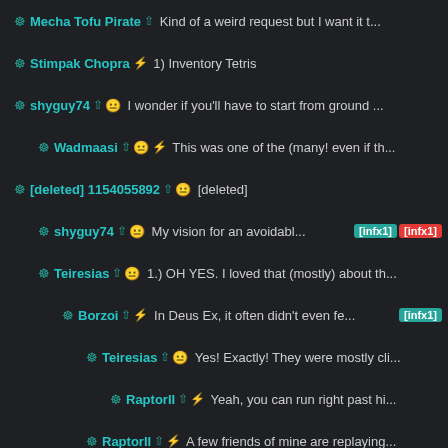Mecha Tofu Pirate ⬆ Kind of a weird request but I want it t...
Stimpak Chopra ⚡ 1) Inventory Tetris
shyguy74 ⬆ 😐 I wonder if you'll have to start from ground ...
Wadmaasi ⬆ 😐 ⚡ This was one of the (many! even if th...
[deleted] 1154055892 ⬆ 😐 [deleted]
shyguy74 ⬆ 😐 My vision for an avoidabl... [infx1] [infx1]
Teiresias ⬆ 😐 1.) OH YES. I loved that (mostly) about th...
Borzoi ⬆ ⚡ In Deus Ex, it often didn't even fe... [infx1]
Teiresias ⬆ 😐 Yes! Exactly! They were mostly cli...
RaptorII ⬆ ⚡ Yeah, you can run right past hi...
RaptorII ⬆ ⚡ A few friends of mine are replaying...
Zollington ⬆ What was the game for April?
RaptorII ⬆ ⚡ Sorry, bi-monthly in that eac...
Borzoi ⬆ ⚡ Remember Me is a ... [infx1]
RaptorII ⬆ ⚡ Glad you're enjoying it...
Borzoi ⬆ ⚡ My greatest... [tag x1]